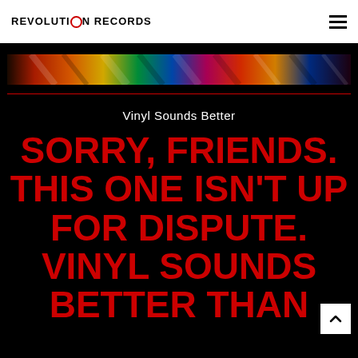REVOLUTION RECORDS
[Figure (photo): Colorful vinyl records banner image showing stacked/fanned record sleeves in vivid colors]
Vinyl Sounds Better
SORRY, FRIENDS. THIS ONE ISN'T UP FOR DISPUTE. VINYL SOUNDS BETTER THAN